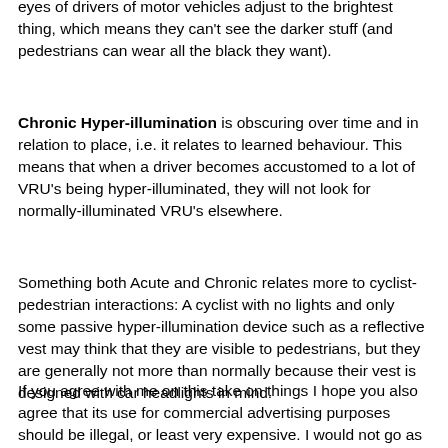eyes of drivers of motor vehicles adjust to the brightest thing, which means they can't see the darker stuff (and pedestrians can wear all the black they want).
Chronic Hyper-illumination is obscuring over time and in relation to place, i.e. it relates to learned behaviour. This means that when a driver becomes accustomed to a lot of VRU's being hyper-illuminated, they will not look for normally-illuminated VRU's elsewhere.
Something both Acute and Chronic relates more to cyclist-pedestrian interactions: A cyclist with no lights and only some passive hyper-illumination device such as a reflective vest may think that they are visible to pedestrians, but they are generally not more than normally because their vest is designed with car headlights in mind.
If you agree with me on this take on things I hope you also agree that its use for commercial advertising purposes should be illegal, or least very expensive. I would not go as far to say they should be illegal for non-commercial use at any time, but this is only because bikes should just be as close as possible to wheels attached to your feet, with things